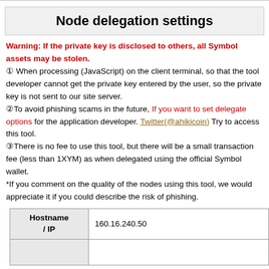Node delegation settings
Warning: If the private key is disclosed to others, all Symbol assets may be stolen.
① When processing (JavaScript) on the client terminal, so that the tool developer cannot get the private key entered by the user, so the private key is not sent to our site server.
②To avoid phishing scams in the future, If you want to set delegate options for the application developer. Twitter(@ahikicoin) Try to access this tool.
③There is no fee to use this tool, but there will be a small transaction fee (less than 1XYM) as when delegated using the official Symbol wallet.
*If you comment on the quality of the nodes using this tool, we would appreciate it if you could describe the risk of phishing.
| Hostname / IP |  |
| --- | --- |
| Hostname / IP | 160.16.240.50 |